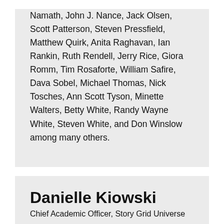Namath, John J. Nance, Jack Olsen, Scott Patterson, Steven Pressfield, Matthew Quirk, Anita Raghavan, Ian Rankin, Ruth Rendell, Jerry Rice, Giora Romm, Tim Rosaforte, William Safire, Dava Sobel, Michael Thomas, Nick Tosches, Ann Scott Tyson, Minette Walters, Betty White, Randy Wayne White, Steven White, and Don Winslow among many others.
Danielle Kiowski
Chief Academic Officer, Story Grid Universe
[Figure (photo): Portrait photo of Danielle Kiowski, a woman with brown hair]